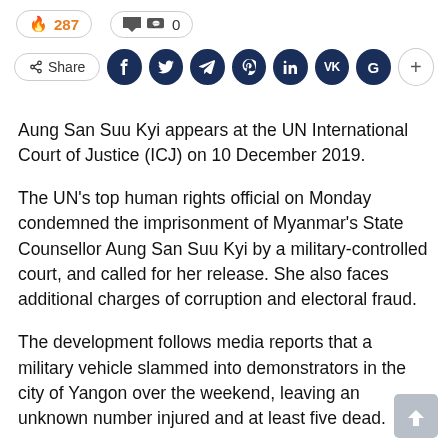287  0
[Figure (screenshot): Social share bar with Share button and social media icons: Facebook, Twitter, Telegram, Pinterest, LinkedIn, VK, Google, plus]
Aung San Suu Kyi appears at the UN International Court of Justice (ICJ) on 10 December 2019.
The UN's top human rights official on Monday condemned the imprisonment of Myanmar's State Counsellor Aung San Suu Kyi by a military-controlled court, and called for her release. She also faces additional charges of corruption and electoral fraud.
The development follows media reports that a military vehicle slammed into demonstrators in the city of Yangon over the weekend, leaving an unknown number injured and at least five dead.